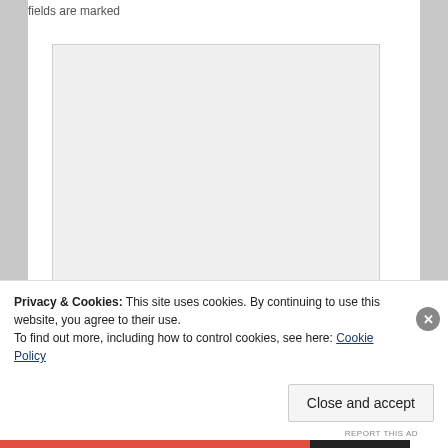fields are marked
[Figure (screenshot): A large empty textarea input box with a light gray background and resize handle in the bottom-right corner]
[Figure (screenshot): A smaller empty text input field below the textarea]
Privacy & Cookies: This site uses cookies. By continuing to use this website, you agree to their use.
To find out more, including how to control cookies, see here: Cookie Policy
Close and accept